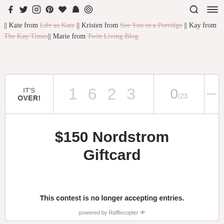[social icons: facebook, twitter, instagram, pinterest, heart, snapchat, target] [search icon] [menu icon]
|| Kate from Life as Kate || Kristen from See You in a Porridge || Kay from The Kay Times|| Marie from Twin Living Blog
[Figure (screenshot): Rafflecopter giveaway widget showing IT'S OVER!, counter digits 1623, countdown 0/23, prize $150 Nordstrom Giftcard, message: This contest is no longer accepting entries., powered by Rafflecopter]